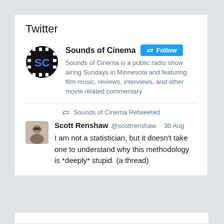Twitter
[Figure (logo): Sounds of Cinema logo: circular black badge with 'SC' in blue letters and film strip border]
Sounds of Cinema [Follow button] Sounds of Cinema is a public radio show airing Sundays in Minnesota and featuring film music, reviews, interviews, and other movie related commentary.
[Figure (photo): Profile photo of Scott Renshaw, a man with glasses]
Scott Renshaw @scottrenshaw · 30 Aug
I am not a statistician, but it doesn't take one to understand why this methodology is *deeply* stupid. (a thread)